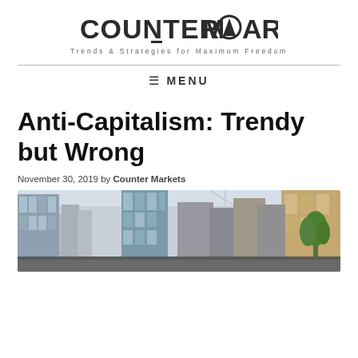COUNTERMARKETS — Trends & Strategies for Maximum Freedom
≡  MENU
Anti-Capitalism: Trendy but Wrong
November 30, 2019 by Counter Markets
[Figure (photo): Street-level view looking up at tall city skyscrapers and glass buildings with trees visible on the right side]